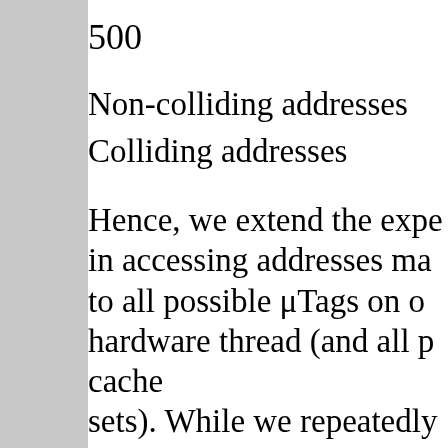500
Non-colliding addresses
Colliding addresses
Hence, we extend the expe in accessing addresses ma to all possible μTags on o hardware thread (and all p cache sets). While we repeatedly accessed one of these addr